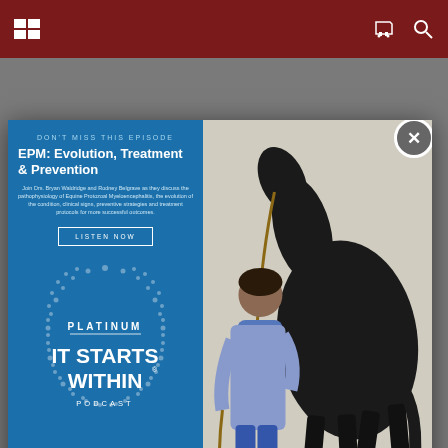Navigation header with menu and search icons
new sponsorship — "Crushing the Fees" — through which all
[Figure (infographic): Advertisement modal popup for Platinum 'It Starts Within' podcast episode: EPM: Evolution, Treatment & Prevention. Features text on blue background and a photo of a man walking a dark horse.]
enthusiasts to the 2019 Bank of America Youth Excellence Seminar (YES). The event, scheduled for July 9-11, 2019, will be open to members and